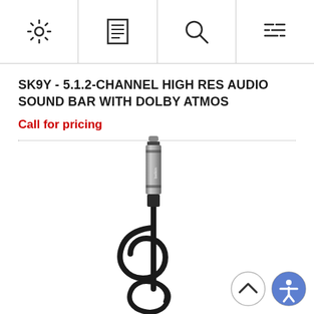[Figure (other): Navigation bar with four icons: gear/settings icon, document/menu icon, search/magnifying glass icon, and filter/list icon]
SK9Y - 5.1.2-CHANNEL HIGH RES AUDIO SOUND BAR WITH DOLBY ATMOS
Call for pricing
[Figure (photo): A Belkin 3.5mm audio cable with a metallic connector at the top and a coiled/curled black cable below, photographed on a white background]